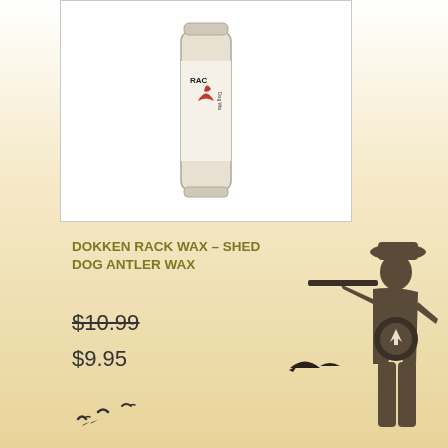[Figure (photo): Product image: RACK WAX - Shed Dog Antler Wax cylindrical container with red logo, shown in a white bordered box]
DOKKEN RACK WAX – SHED DOG ANTLER WAX
$10.99
$9.95
[Figure (illustration): Decorative background with flying bird silhouettes and a hunter silhouette with a gun on a warm gradient background]